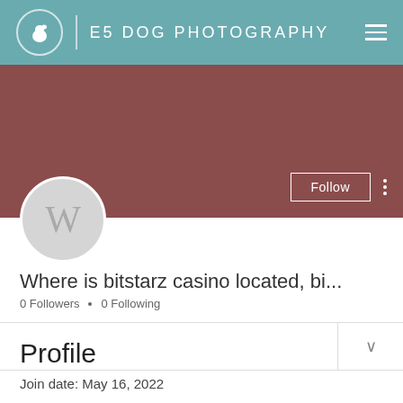[Figure (screenshot): E5 Dog Photography website navigation bar with dog logo, site name, and hamburger menu on teal background]
[Figure (screenshot): User profile cover area in dark red/brown with Follow button and avatar circle showing letter W]
Where is bitstarz casino located, bi...
0 Followers • 0 Following
Profile
Join date: May 16, 2022